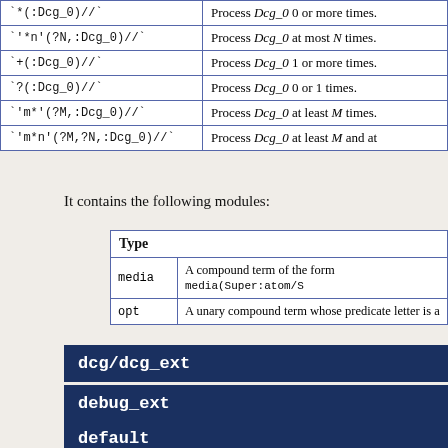| Syntax | Description |
| --- | --- |
| `*(:Dcg_0)//` | Process Dcg_0 0 or more times. |
| `'*n'(?N,:Dcg_0)//` | Process Dcg_0 at most N times. |
| `+(:Dcg_0)//` | Process Dcg_0 1 or more times. |
| `?(:Dcg_0)//` | Process Dcg_0 0 or 1 times. |
| `'m*'(?M,:Dcg_0)//` | Process Dcg_0 at least M times. |
| `'m*n'(?M,?N,:Dcg_0)//` | Process Dcg_0 at least M and at most N times. |
It contains the following modules:
| Type |  |
| --- | --- |
| media | A compound term of the form media(Super:atom/S... |
| opt | A unary compound term whose predicate letter is a... |
dcg/dcg_ext
debug_ext
default